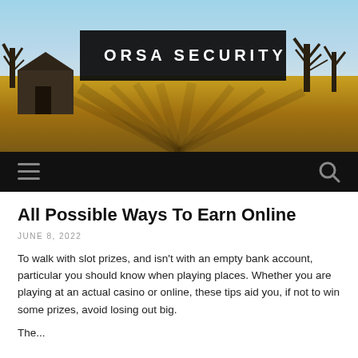[Figure (photo): Outdoor landscape photo showing a barn and bare trees with golden field under a clear sky, used as website header background]
ORSA SECURITY
[Figure (infographic): Black navigation bar with hamburger menu icon on left and search icon on right]
All Possible Ways To Earn Online
JUNE 8, 2022
To walk with slot prizes, and isn't with an empty bank account, particular you should know when playing places. Whether you are playing at an actual casino or online, these tips aid you, if not to win some prizes, avoid losing out big.
The...